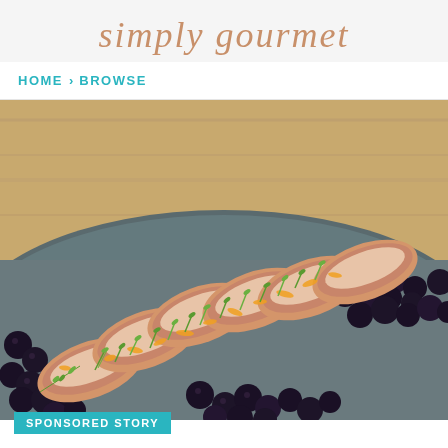simply gourmet
HOME > BROWSE
[Figure (photo): Sliced duck breast or pork loin on a dark slate plate, garnished with fresh herbs (chives, thyme) and orange zest, accompanied by dark berries (blueberries or black cherries), arranged diagonally on a wooden board background.]
SPONSORED STORY